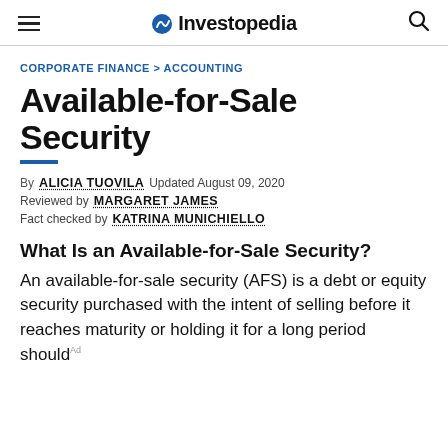Investopedia
CORPORATE FINANCE > ACCOUNTING
Available-for-Sale Security
By ALICIA TUOVILA Updated August 09, 2020
Reviewed by MARGARET JAMES
Fact checked by KATRINA MUNICHIELLO
What Is an Available-for-Sale Security?
An available-for-sale security (AFS) is a debt or equity security purchased with the intent of selling before it reaches maturity or holding it for a long period should